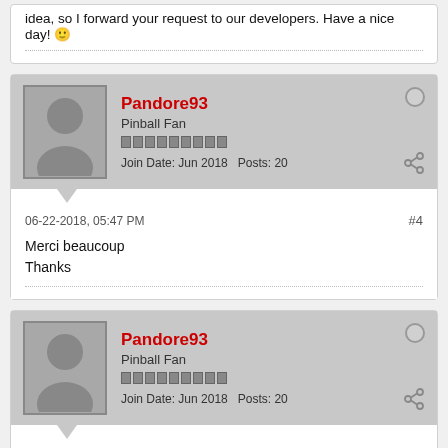idea, so I forward your request to our developers. Have a nice day! 🙂
Pandore93
Pinball Fan
Join Date: Jun 2018  Posts: 20
06-22-2018, 05:47 PM
#4
Merci beaucoup
Thanks
Pandore93
Pinball Fan
Join Date: Jun 2018  Posts: 20
09-08-2018, 08:16 AM
#5
Originally posted by Pandore93
Merci beaucoup